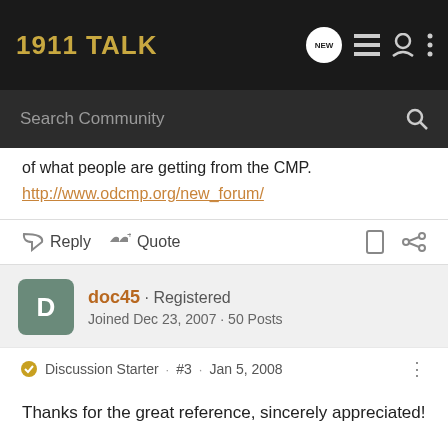1911 TALK
of what people are getting from the CMP. http://www.odcmp.org/new_forum/
Reply  Quote
doc45 · Registered
Joined Dec 23, 2007 · 50 Posts
Discussion Starter · #3 · Jan 5, 2008
Thanks for the great reference, sincerely appreciated!